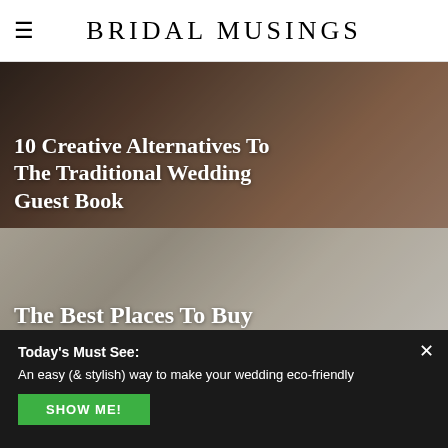BRIDAL MUSINGS
[Figure (photo): Dark warm-toned background photo of a wedding guest book or similar object with white text overlay reading '10 Creative Alternatives To The Traditional Wedding Guest Book']
10 Creative Alternatives To The Traditional Wedding Guest Book
[Figure (photo): Light grey/beige toned photo of wedding invitation stationery with white text overlay reading 'The Best Places To Buy Wedding Invitations']
The Best Places To Buy Wedding Invitations
Today's Must See:
An easy (& stylish) way to make your wedding eco-friendly